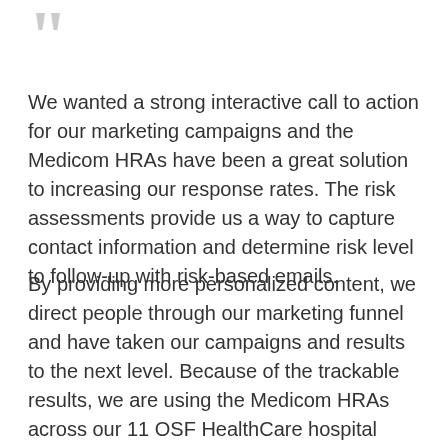[Figure (illustration): Large gray quotation mark icon at top left]
We wanted a strong interactive call to action for our marketing campaigns and the Medicom HRAs have been a great solution to increasing our response rates. The risk assessments provide us a way to capture contact information and determine risk level to follow-up with risk-based emails.
By providing more personalized content, we direct people through our marketing funnel and have taken our campaigns and results to the next level. Because of the trackable results, we are using the Medicom HRAs across our 11 OSF HealthCare hospital markets and for numerous disease states.